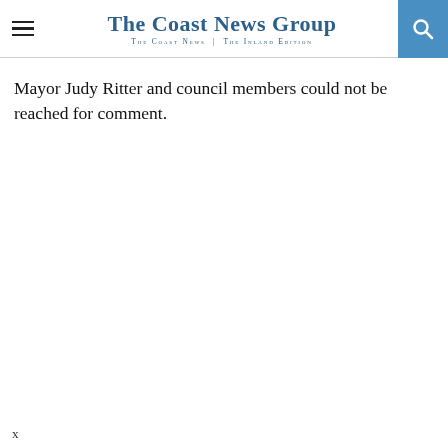The Coast News Group — The Coast News | The Inland Edition
Mayor Judy Ritter and council members could not be reached for comment.